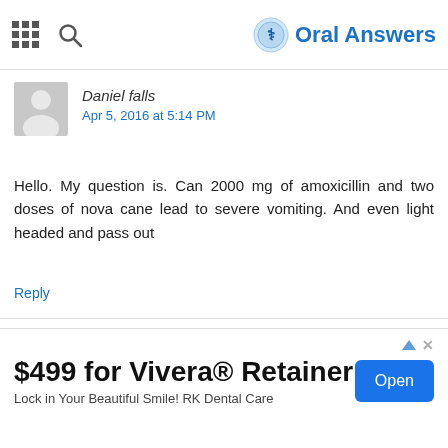Oral Answers
Daniel falls
Apr 5, 2016 at 5:14 PM
Hello. My question is. Can 2000 mg of amoxicillin and two doses of nova cane lead to severe vomiting. And even light headed and pass out
Reply
Maria
Apr 13, 2016 at 3:01 PM
$499 for Vivera® Retainer
Lock in Your Beautiful Smile! RK Dental Care